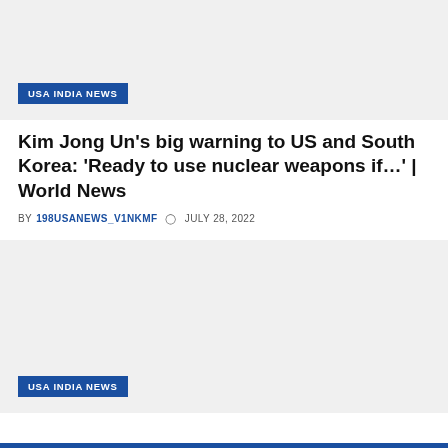[Figure (photo): Gray placeholder image block at top with USA INDIA NEWS badge]
Kim Jong Un’s big warning to US and South Korea: ‘Ready to use nuclear weapons if…’ | World News
BY 198USANEWS_V1NKMF ○ JULY 28, 2022
[Figure (photo): Gray placeholder image block at bottom with USA INDIA NEWS badge]